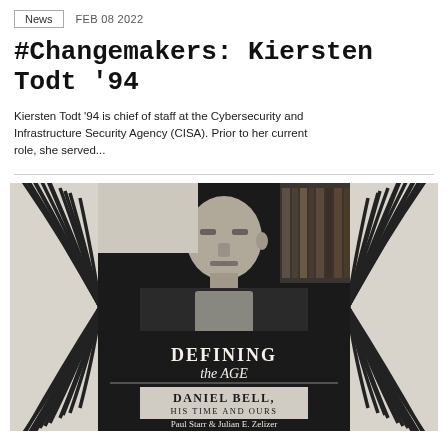News | FEB 08 2022
#Changemakers: Kiersten Todt '94
Kiersten Todt '94 is chief of staff at the Cybersecurity and Infrastructure Security Agency (CISA). Prior to her current role, she served...
[Figure (photo): Black and white photo book cover: 'Defining the Age - Daniel Bell, His Time and Ours' by Paul Starr & Julian E. Zelizer, with an older man seated in front of bookshelves, and a decorative striped pattern on the sides.]